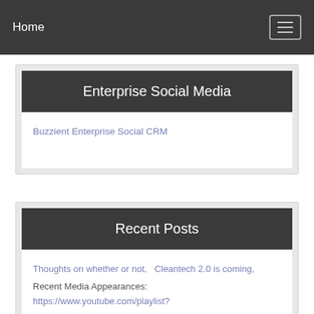Home
Enterprise Social Media
Buzzient Enterprise Social CRM
Recent Posts
Thoughts on whether or not,   Cleantech 2.0 is coming,
Recent Media Appearances:
https://www.youtube.com/playlist?